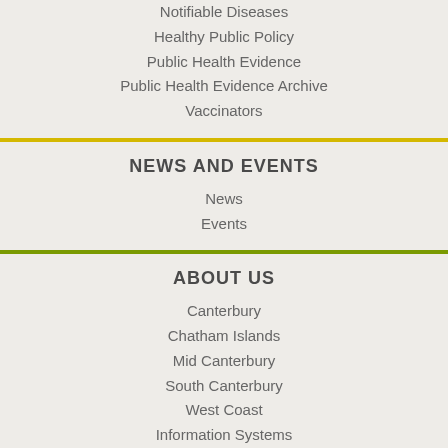Notifiable Diseases
Healthy Public Policy
Public Health Evidence
Public Health Evidence Archive
Vaccinators
NEWS AND EVENTS
News
Events
ABOUT US
Canterbury
Chatham Islands
Mid Canterbury
South Canterbury
West Coast
Information Systems
Public Health
Te Pae Māhutonga